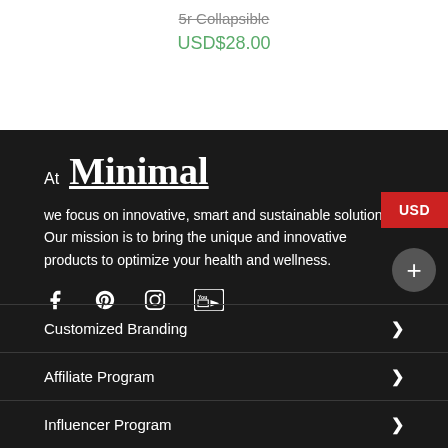5r Collapsible
USD$28.00
At Minimal
we focus on innovative, smart and sustainable solutions. Our mission is to bring the unique and innovative products to optimize your health and wellness.
[Figure (illustration): Social media icons: Facebook, Pinterest, Instagram, YouTube]
Customized Branding
Affiliate Program
Influencer Program